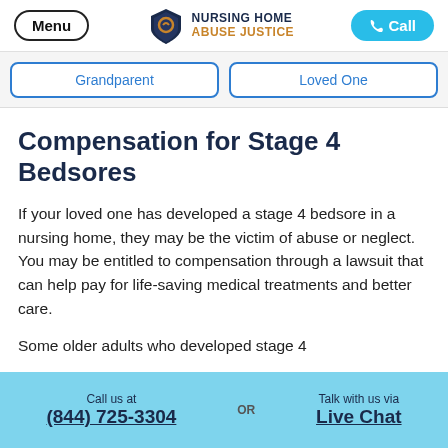Menu | NURSING HOME ABUSE JUSTICE | Call
[Figure (screenshot): Navigation buttons showing 'Grandparent' and 'Loved One' options with blue borders]
Compensation for Stage 4 Bedsores
If your loved one has developed a stage 4 bedsore in a nursing home, they may be the victim of abuse or neglect. You may be entitled to compensation through a lawsuit that can help pay for life-saving medical treatments and better care.
Some older adults who developed stage 4
Call us at (844) 725-3304 OR Talk with us via Live Chat